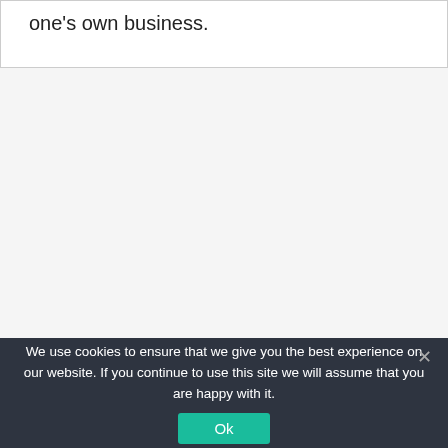one’s own business.
We use cookies to ensure that we give you the best experience on our website. If you continue to use this site we will assume that you are happy with it.